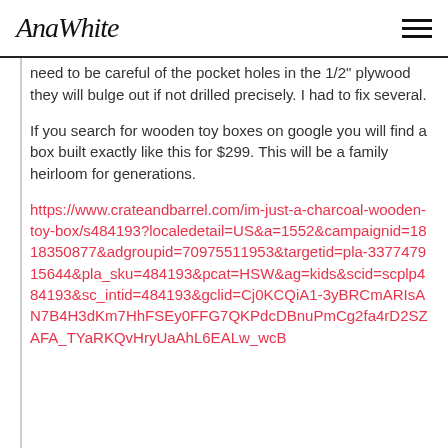AnaWhite
need to be careful of the pocket holes in the 1/2" plywood they will bulge out if not drilled precisely.  I had to fix several.

If you search for wooden toy boxes on google you will find a box built exactly like this for $299.  This will be a family heirloom for generations.
https://www.crateandbarrel.com/im-just-a-charcoal-wooden-toy-box/s484193?localedetail=US&a=1552&campaignid=1818350877&adgroupid=70975511953&targetid=pla-337747915644&pla_sku=484193&pcat=HSW&ag=kids&scid=scplp484193&sc_intid=484193&gclid=Cj0KCQiA1-3yBRCmARIsAN7B4H3dKm7HhFSEy0FFG7QKPdcDBnuPmCg2fa4rD2SZAFA_TYaRKQvHryUaAhL6EALw_wcB